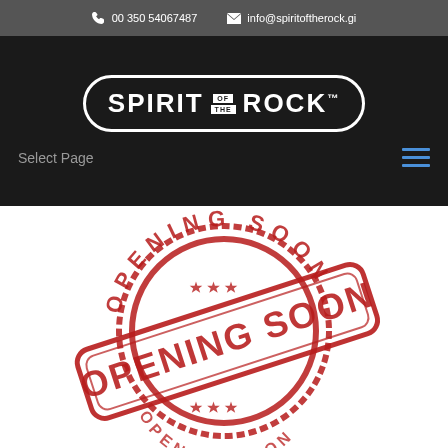📞 00 350 54067487   ✉ info@spiritoftherock.gi
[Figure (logo): Spirit of the Rock logo — white bold text in a rounded rectangle border on dark background]
Select Page
[Figure (illustration): Red distressed rubber stamp graphic showing 'OPENING SOON' text in circular and banner stamp formats]